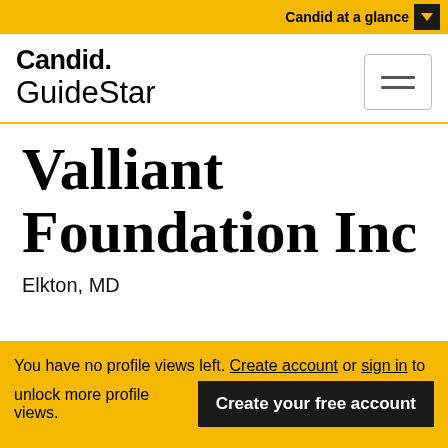Candid at a glance
Candid. GuideStar
Valliant Foundation Inc
Elkton, MD
You have no profile views left. Create account or sign in to unlock more profile views.